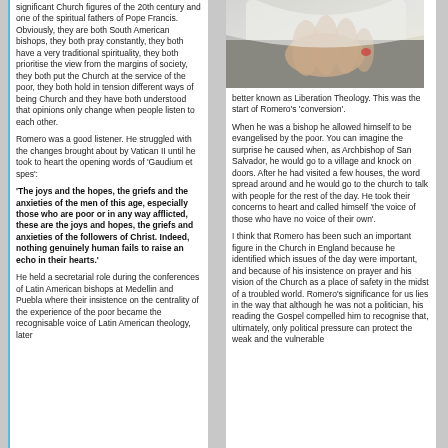significant Church figures of the 20th century and one of the spiritual fathers of Pope Francis. Obviously, they are both South American bishops, they both pray constantly, they both have a very traditional spirituality, they both prioritise the view from the margins of society, they both put the Church at the service of the poor, they both hold in tension different ways of being Church and they have both understood that opinions only change when people listen to each other.
Romero was a good listener. He struggled with the changes brought about by Vatican II until he took to heart the opening words of 'Gaudium et spes':
'The joys and the hopes, the griefs and the anxieties of the men of this age, especially those who are poor or in any way afflicted, these are the joys and hopes, the griefs and anxieties of the followers of Christ. Indeed, nothing genuinely human fails to raise an echo in their hearts.'
He held a secretarial role during the conferences of Latin American bishops at Medellin and Puebla where their insistence on the centrality of the experience of the poor became the recognisable voice of Latin American theology, later
[Figure (photo): Close-up photo of hands, appears to be a religious figure's hands]
better known as Liberation Theology. This was the start of Romero's 'conversion'.
When he was a bishop he allowed himself to be evangelised by the poor. You can imagine the surprise he caused when, as Archbishop of San Salvador, he would go to a village and knock on doors. After he had visited a few houses, the word spread around and he would go to the church to talk with people for the rest of the day. He took their concerns to heart and called himself 'the voice of those who have no voice of their own'.
I think that Romero has been such an important figure in the Church in England because he identified which issues of the day were important, and because of his insistence on prayer and his vision of the Church as a place of safety in the midst of a troubled world. Romero's significance for us lies in the way that although he was not a politician, his reading the Gospel compelled him to recognise that, ultimately, only political pressure can protect the weak and the vulnerable